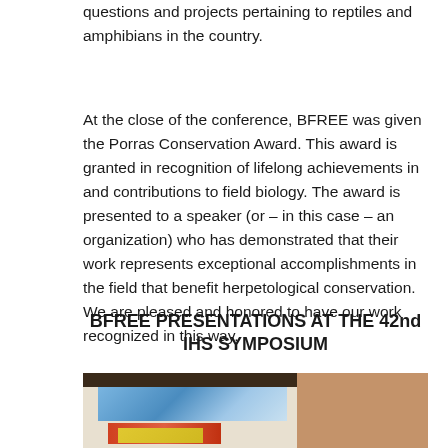questions and projects pertaining to reptiles and amphibians in the country.
At the close of the conference, BFREE was given the Porras Conservation Award. This award is granted in recognition of lifelong achievements in and contributions to field biology. The award is presented to a speaker (or – in this case – an organization) who has demonstrated that their work represents exceptional accomplishments in the field that benefit herpetological conservation. We are pleased and honored to have our work recognized in this way.
BFREE PRESENTATIONS AT THE 42nd IHS SYMPOSIUM
[Figure (photo): A split photograph showing a projection screen displaying a colorful image on the left side, and a tan/brown wall on the right side, taken at the IHS Symposium venue.]